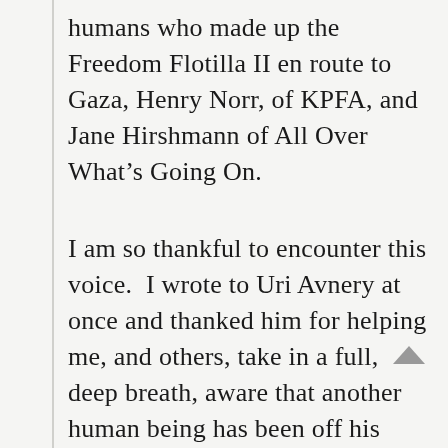humans who made up the Freedom Flotilla II en route to Gaza, Henry Norr, of KPFA, and Jane Hirshmann of All Over What's Going On.
I am so thankful to encounter this voice.  I wrote to Uri Avnery at once and thanked him for helping me, and others, take in a full, deep breath, aware that another human being has been off his knees and standing all this time.
His life is a medicine for our time, to be